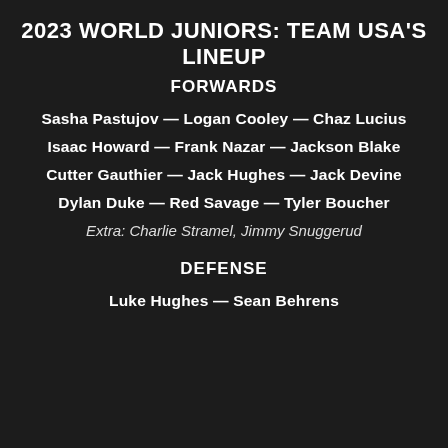2023 WORLD JUNIORS: TEAM USA'S LINEUP
FORWARDS
Sasha Pastujov — Logan Cooley — Chaz Lucius
Isaac Howard — Frank Nazar — Jackson Blake
Cutter Gauthier — Jack Hughes — Jack Devine
Dylan Duke — Red Savage — Tyler Boucher
Extra: Charlie Stramel, Jimmy Snuggerud
DEFENSE
Luke Hughes — Sean Behrens